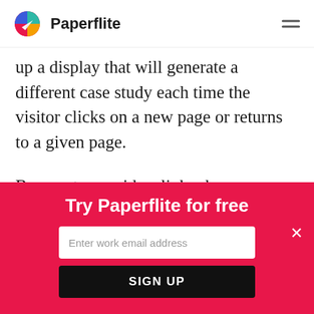Paperflite
up a display that will generate a different case study each time the visitor clicks on a new page or returns to a given page.
Be sure to provide a link where more case studies can be found by the visitor, in case the story does not
Try Paperflite for free
Enter work email address
SIGN UP